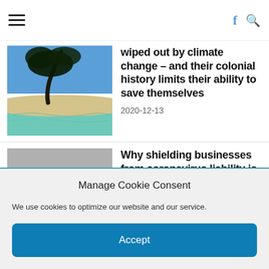Navigation header with hamburger menu, Facebook icon, and search icon
wiped out by climate change – and their colonial history limits their ability to save themselves
2020-12-13
[Figure (photo): Tropical beach scene with a leaning tree, white sandy beach, and turquoise water]
Why shielding businesses from coronavirus liability is a bad idea
2020-12-13
[Figure (photo): Gray placeholder image for article]
Manage Cookie Consent
We use cookies to optimize our website and our service.
Accept